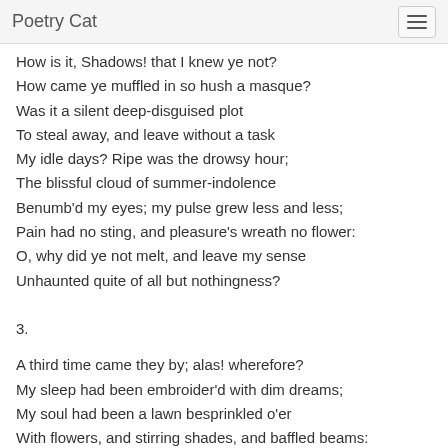Poetry Cat
How is it, Shadows! that I knew ye not?
How came ye muffled in so hush a masque?
Was it a silent deep-disguised plot
To steal away, and leave without a task
My idle days? Ripe was the drowsy hour;
The blissful cloud of summer-indolence
Benumb'd my eyes; my pulse grew less and less;
Pain had no sting, and pleasure's wreath no flower:
O, why did ye not melt, and leave my sense
Unhaunted quite of all but nothingness?
3.
A third time came they by; alas! wherefore?
My sleep had been embroider'd with dim dreams;
My soul had been a lawn besprinkled o'er
With flowers, and stirring shades, and baffled beams:
The morn was clouded, but no shower fell,
Tho' in her lids hung the sweet tears of May;
The open casement press'd a new-leav'd vine,